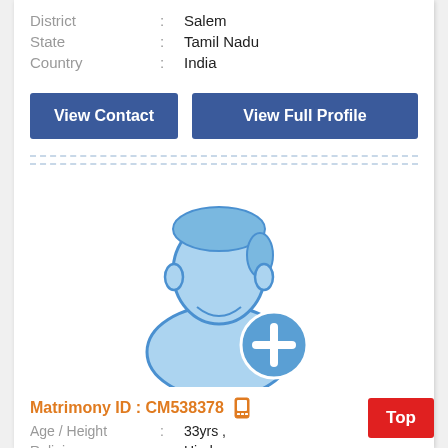District : Salem
State : Tamil Nadu
Country : India
View Contact
View Full Profile
[Figure (illustration): Placeholder male avatar icon with a blue add/plus badge in the bottom right corner]
Matrimony ID : CM538378
Age / Height : 33yrs ,
Religion : Hindu